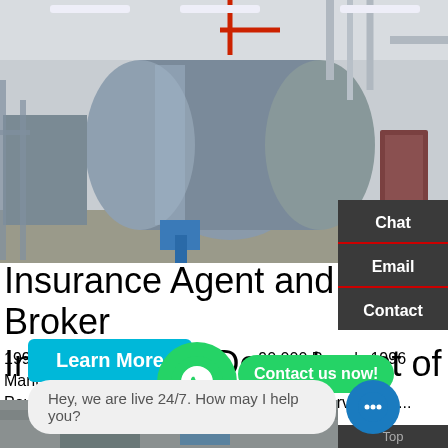[Figure (photo): Industrial boiler room with large horizontal silver/grey steam boilers, blue pipes and fittings, red pipe, metal scaffolding, fluorescent lighting in a white industrial building.]
Insurance Agent and Broker Information | Department of
1996 Nebraska Boilers steam  90,000 Pounds 1996 Manufacturer: Nebraska Boile m boiler 90,000 Pounds 75,000 - 90,000 Pound Boiler still in service for ...
[Figure (other): WhatsApp green circular logo button]
Contact us now!
Learn More
Hey, we are live 24/7. How may I help you?
Chat
Email
Contact
Top